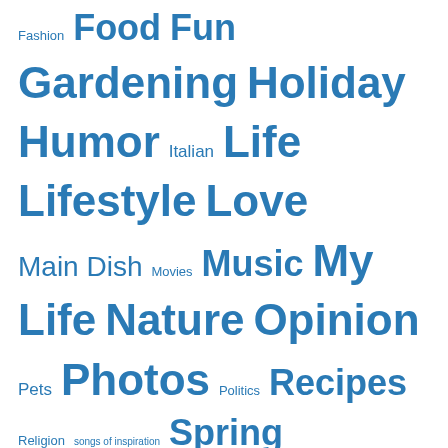Fashion Food Fun Gardening Holiday Humor Italian Life Lifestyle Love Main Dish Movies Music My Life Nature Opinion Pets Photos Politics Recipes Religion songs of inspiration Spring Summer Thoughts Travel Winter Yorkies
Archives
January 2015
September 2012
August 2012
July 2012
June 2012